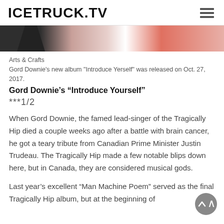ICETRUCK.TV
[Figure (photo): Partial view of an album cover with dark grey, pink/salmon, and red-orange color regions]
Arts & Crafts
Gord Downie's new album "Introduce Yerself" was released on Oct. 27, 2017.
Gord Downie's “Introduce Yourself”
***1/2
When Gord Downie, the famed lead-singer of the Tragically Hip died a couple weeks ago after a battle with brain cancer, he got a teary tribute from Canadian Prime Minister Justin Trudeau. The Tragically Hip made a few notable blips down here, but in Canada, they are considered musical gods.
Last year’s excellent “Man Machine Poem” served as the final Tragically Hip album, but at the beginning of